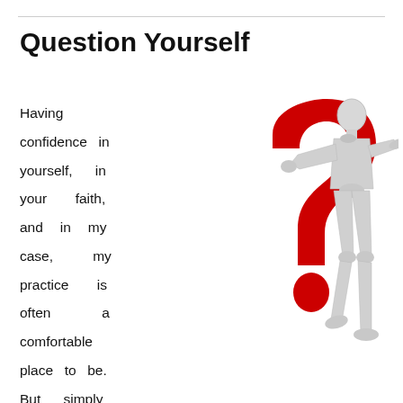Question Yourself
Having confidence in yourself, in your faith, and in my case, my practice is often a comfortable place to be. But simply having someone else
[Figure (illustration): A white articulated mannequin figure leaning against a large red 3D question mark on a white background]